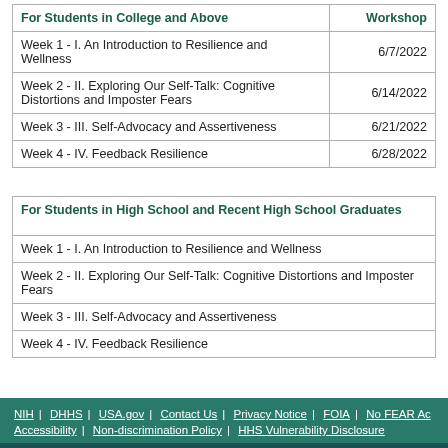| For Students in College and Above | Workshop |
| --- | --- |
| Week 1 - I. An Introduction to Resilience and Wellness | 6/7/2022 |
| Week 2 - II. Exploring Our Self-Talk: Cognitive Distortions and Imposter Fears | 6/14/2022 |
| Week 3 - III. Self-Advocacy and Assertiveness | 6/21/2022 |
| Week 4 - IV. Feedback Resilience | 6/28/2022 |
| For Students in High School and Recent High School Graduates |  |
| --- | --- |
| Week 1 - I. An Introduction to Resilience and Wellness |  |
| Week 2 - II. Exploring Our Self-Talk: Cognitive Distortions and Imposter Fears |  |
| Week 3 - III. Self-Advocacy and Assertiveness |  |
| Week 4 - IV. Feedback Resilience |  |
NIH | DHHS | USA.gov | Contact Us | Privacy Notice | FOIA | No FEAR Act | Accessibility | Non-discrimination Policy | HHS Vulnerability Disclosure